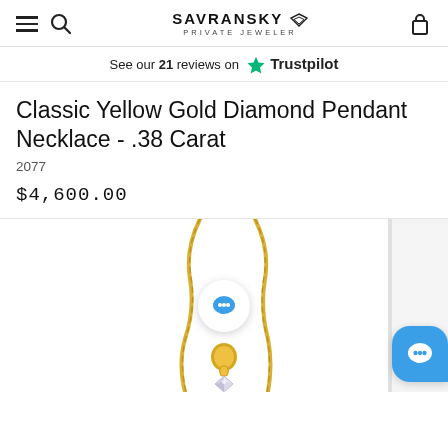SAVRANSKY PRIVATE JEWELER
See our 21 reviews on Trustpilot
Classic Yellow Gold Diamond Pendant Necklace - .38 Carat
2077
$4,600.00
[Figure (photo): Classic yellow gold diamond pendant necklace shown hanging on a twisted gold chain, with a round diamond pendant. Two chat/message UI overlay buttons visible.]